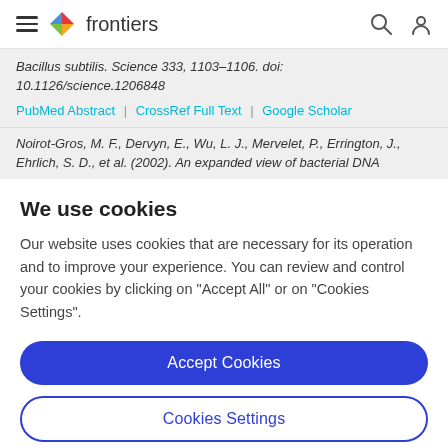frontiers
Bacillus subtilis. Science 333, 1103–1106. doi: 10.1126/science.1206848
PubMed Abstract | CrossRef Full Text | Google Scholar
Noirot-Gros, M. F., Dervyn, E., Wu, L. J., Mervelet, P., Errington, J., Ehrlich, S. D., et al. (2002). An expanded view of bacterial DNA
We use cookies
Our website uses cookies that are necessary for its operation and to improve your experience. You can review and control your cookies by clicking on "Accept All" or on "Cookies Settings".
Accept Cookies
Cookies Settings